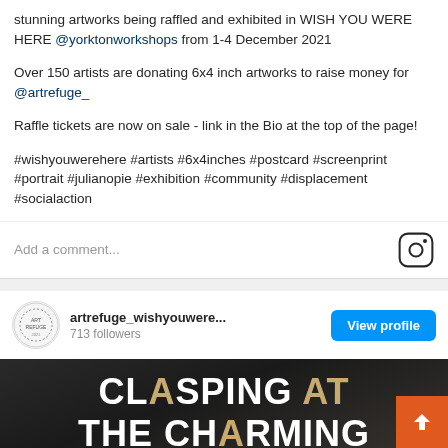stunning artworks being raffled and exhibited in WISH YOU WERE HERE @yorktonworkshops from 1-4 December 2021
Over 150 artists are donating 6x4 inch artworks to raise money for @artrefuge_
Raffle tickets are now on sale - link in the Bio at the top of the page!
#wishyouwerehere #artists #6x4inches #postcard #screenprint #portrait #julianopie #exhibition #community #displacement #socialaction
Add a comment...
artrefuge_wishyouwere...
713 followers
View profile
[Figure (screenshot): Instagram post image showing text CLASPING AT THE CHARMING on dark background]